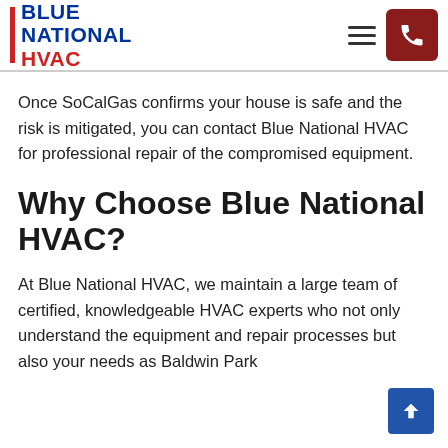BLUE NATIONAL HVAC
Once SoCalGas confirms your house is safe and the risk is mitigated, you can contact Blue National HVAC for professional repair of the compromised equipment.
Why Choose Blue National HVAC?
At Blue National HVAC, we maintain a large team of certified, knowledgeable HVAC experts who not only understand the equipment and repair processes but also your needs as Baldwin Park